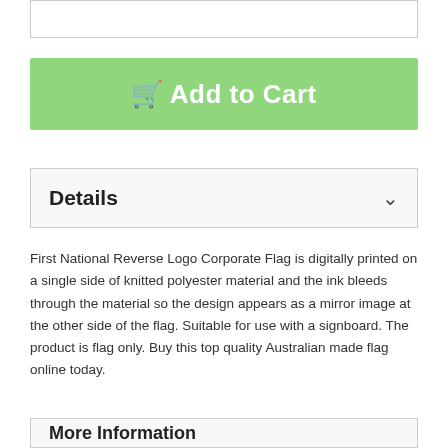[Figure (other): Top input/selector box (partial, cropped at top)]
[Figure (other): Green Add to Cart button with shopping cart icon]
Details
First National Reverse Logo Corporate Flag is digitally printed on a single side of knitted polyester material and the ink bleeds through the material so the design appears as a mirror image at the other side of the flag. Suitable for use with a signboard. The product is flag only. Buy this top quality Australian made flag online today.
More Information